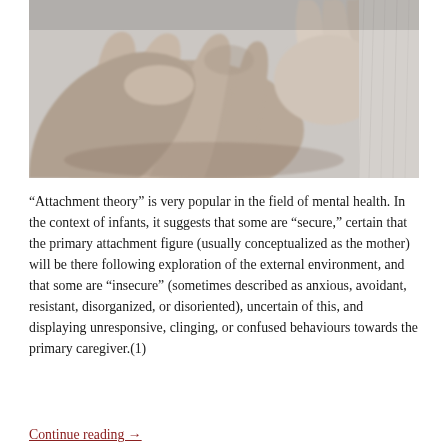[Figure (photo): Black and white close-up photograph of an adult hand holding a baby's hand/foot, with fabric texture visible in the background.]
“Attachment theory” is very popular in the field of mental health. In the context of infants, it suggests that some are “secure,” certain that the primary attachment figure (usually conceptualized as the mother) will be there following exploration of the external environment, and that some are “insecure” (sometimes described as anxious, avoidant, resistant, disorganized, or disoriented), uncertain of this, and displaying unresponsive, clinging, or confused behaviours towards the primary caregiver.(1)
Continue reading →